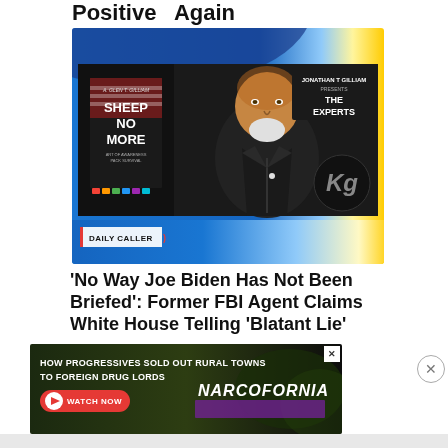Positive  Again
[Figure (screenshot): Video screenshot showing a man in a black suit with a beard, sitting in front of a 'Jonathan T Gilliam Presents The Experts' sign and a 'Sheep No More' book cover. The Daily Caller logo is in the lower left corner. The video has a blue/gold Fox News-style graphic overlay.]
'No Way Joe Biden Has Not Been Briefed': Former FBI Agent Claims White House Telling 'Blatant Lie'
[Figure (screenshot): Advertisement banner reading 'HOW PROGRESSIVES SOLD OUT RURAL TOWNS TO FOREIGN DRUG LORDS' with a WATCH NOW button and NARCOFORNIA branding on a dark green/marijuana background.]